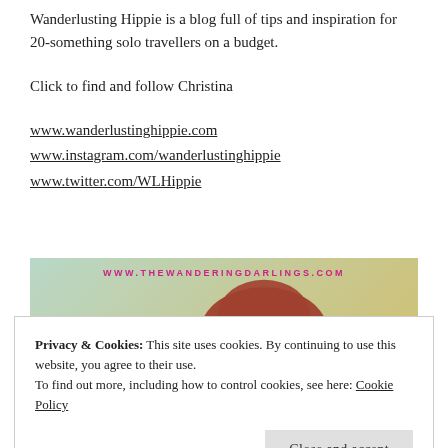Wanderlusting Hippie is a blog full of tips and inspiration for 20-something solo travellers on a budget.
Click to find and follow Christina
www.wanderlustinghippie.com
www.instagram.com/wanderlustinghippie
www.twitter.com/WLHippie
[Figure (photo): Banner image for www.thewanderingdarlings.com showing a knitted hat with bokeh lights]
Privacy & Cookies: This site uses cookies. By continuing to use this website, you agree to their use.
To find out more, including how to control cookies, see here: Cookie Policy
Close and accept